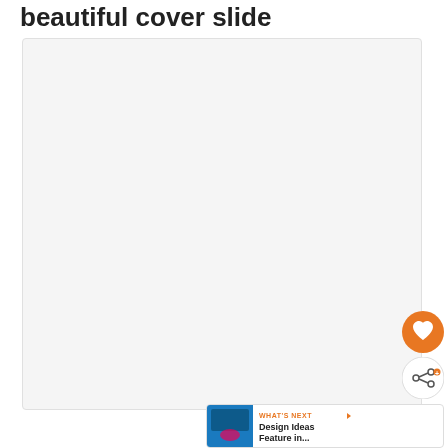beautiful cover slide
[Figure (screenshot): A large light gray rectangle representing a blank or mostly empty presentation slide area]
[Figure (other): Orange circular heart/favorite button]
[Figure (other): White circular share button with share icon]
[Figure (other): WHAT'S NEXT panel with thumbnail and text 'Design Ideas Feature in...']